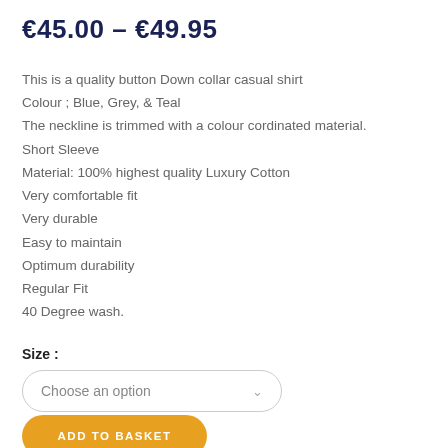€45.00 – €49.95
This is a quality button Down collar casual shirt
Colour ; Blue, Grey, & Teal
The neckline is trimmed with a colour cordinated material.
Short Sleeve
Material: 100% highest quality Luxury Cotton
Very comfortable fit
Very durable
Easy to maintain
Optimum durability
Regular Fit
40 Degree wash.
Size :
Choose an option
ADD TO BASKET